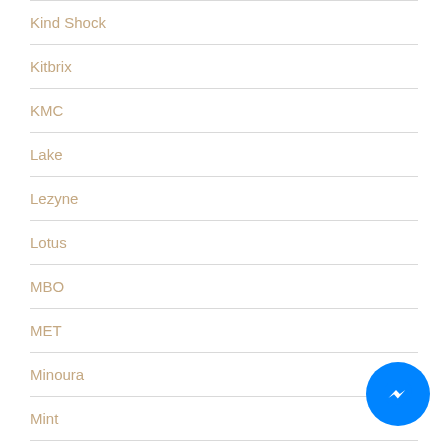Kind Shock
Kitbrix
KMC
Lake
Lezyne
Lotus
MBO
MET
Minoura
Mint
MKS
[Figure (illustration): Facebook Messenger chat button, blue circle with white messenger lightning bolt icon]